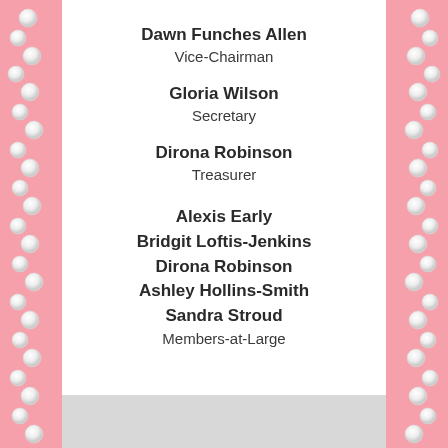Dawn Funches Allen
Vice-Chairman
Gloria Wilson
Secretary
Dirona Robinson
Treasurer
Alexis Early
Bridgit Loftis-Jenkins
Dirona Robinson
Ashley Hollins-Smith
Sandra Stroud
Members-at-Large